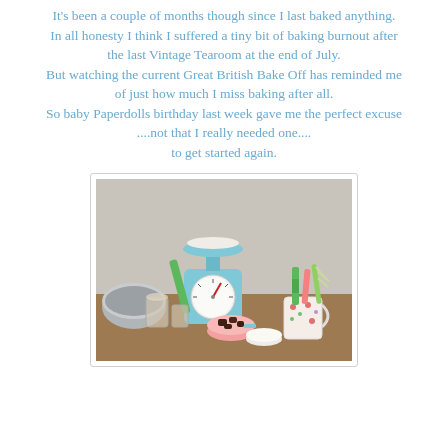It's been a couple of months though since I last baked anything.
In all honesty I think I suffered a tiny bit of baking burnout after
the last Vintage Tearoom at the end of July.
But watching the current Great British Bake Off has reminded me
of just how much I miss baking after all.
So baby Paperdolls birthday last week gave me the perfect excuse
....not that I really needed one....
to get started again.
[Figure (photo): A baking setup photograph showing a vintage light-blue kitchen scale with a dial face and red needle, surrounded by baking ingredients and equipment including a metal mixing bowl, glass jars, a pink bowl with chocolate pieces, colorful silicone spatulas in a floral mug, a green spatula, and a whisk, all arranged on a wooden surface.]